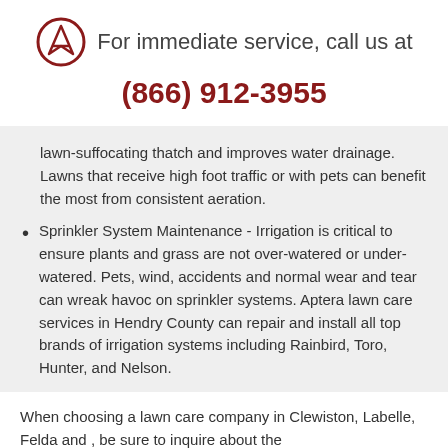For immediate service, call us at
(866) 912-3955
lawn-suffocating thatch and improves water drainage. Lawns that receive high foot traffic or with pets can benefit the most from consistent aeration.
Sprinkler System Maintenance - Irrigation is critical to ensure plants and grass are not over-watered or under-watered. Pets, wind, accidents and normal wear and tear can wreak havoc on sprinkler systems. Aptera lawn care services in Hendry County can repair and install all top brands of irrigation systems including Rainbird, Toro, Hunter, and Nelson.
When choosing a lawn care company in Clewiston, Labelle, Felda and , be sure to inquire about the